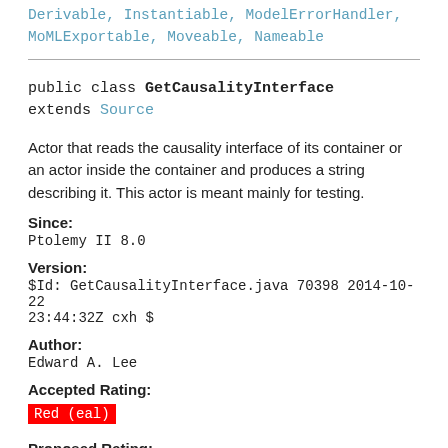Derivable, Instantiable, ModelErrorHandler, MoMLExportable, Moveable, Nameable
public class GetCausalityInterface
extends Source
Actor that reads the causality interface of its container or an actor inside the container and produces a string describing it. This actor is meant mainly for testing.
Since:
Ptolemy II 8.0
Version:
$Id: GetCausalityInterface.java 70398 2014-10-22 23:44:32Z cxh $
Author:
Edward A. Lee
Accepted Rating:
Red (eal)
Proposed Rating: